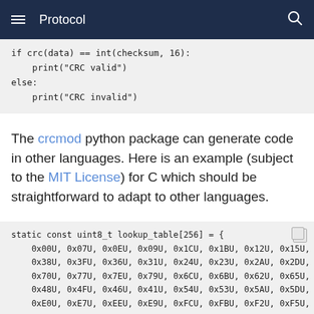Protocol
if crc(data) == int(checksum, 16):
    print("CRC valid")
else:
    print("CRC invalid")
The crcmod python package can generate code in other languages. Here is an example (subject to the MIT License) for C which should be straightforward to adapt to other languages.
static const uint8_t lookup_table[256] = {
    0x00U, 0x07U, 0x0EU, 0x09U, 0x1CU, 0x1BU, 0x12U, 0x15U,
    0x38U, 0x3FU, 0x36U, 0x31U, 0x24U, 0x23U, 0x2AU, 0x2DU,
    0x70U, 0x77U, 0x7EU, 0x79U, 0x6CU, 0x6BU, 0x62U, 0x65U,
    0x48U, 0x4FU, 0x46U, 0x41U, 0x54U, 0x53U, 0x5AU, 0x5DU,
    0xE0U, 0xE7U, 0xEEU, 0xE9U, 0xFCU, 0xFBU, 0xF2U, 0xF5U,
    0xD8U, 0xDFU, 0xD6U, 0xD1U, 0xC4U, 0xC3U, 0xCAU, 0xCDU,
    0x90U, 0x97U, 0x9EU, 0x99U, 0x8CU, 0x8BU, 0x82U, 0x85U,